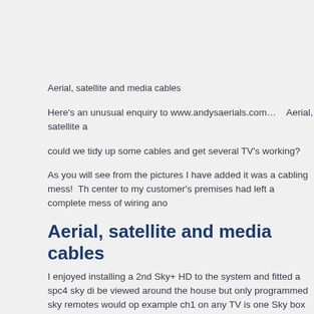Aerial, satellite and media cables
Here's an unusual enquiry to www.andysaerials.com…    Aerial, satellite a
could we tidy up some cables and get several TV's working?
As you will see from the pictures I have added it was a cabling mess!  Th center to my customer's premises had left a complete mess of wiring ano
Aerial, satellite and media cables
I enjoyed installing a 2nd Sky+ HD to the system and fitted a spc4 sky di be viewed around the house but only programmed sky remotes would op example ch1 on any TV is one Sky box channel say for parents and ch2 for example.
Aerial, satellite and media cables